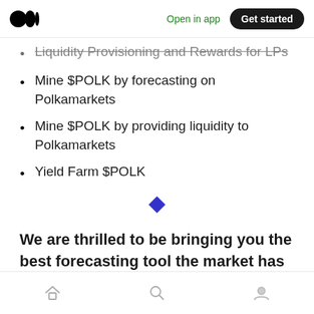Medium app header — Open in app | Get started
Liquidity Provisioning and Rewards for LPs
Mine $POLK by forecasting on Polkamarkets
Mine $POLK by providing liquidity to Polkamarkets
Yield Farm $POLK
[Figure (illustration): Blue diamond decorative divider symbol]
We are thrilled to be bringing you the best forecasting tool the market has ever seen.
Bottom navigation bar with home, search, and profile icons